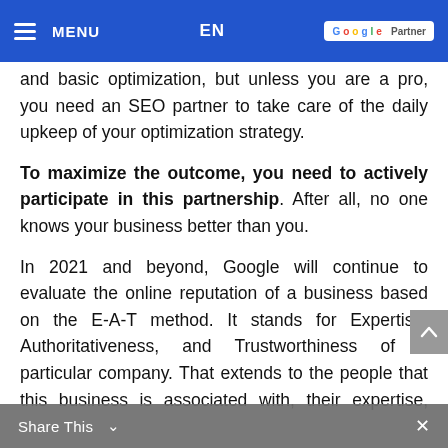MENU  EN  Google Partner
and basic optimization, but unless you are a pro, you need an SEO partner to take care of the daily upkeep of your optimization strategy.
To maximize the outcome, you need to actively participate in this partnership. After all, no one knows your business better than you.
In 2021 and beyond, Google will continue to evaluate the online reputation of a business based on the E-A-T method. It stands for Expertise, Authoritativeness, and Trustworthiness of a particular company. That extends to the people that this business is associated with, their expertise, authority, and credibility.
Share This  ×